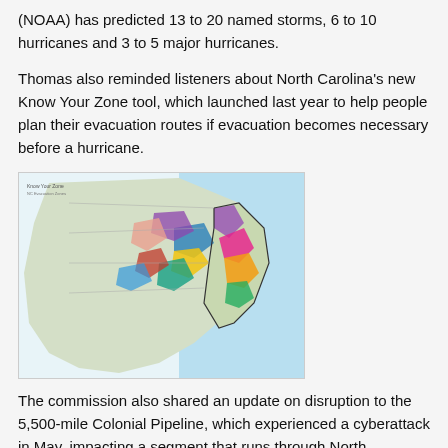(NOAA) has predicted 13 to 20 named storms, 6 to 10 hurricanes and 3 to 5 major hurricanes.
Thomas also reminded listeners about North Carolina’s new Know Your Zone tool, which launched last year to help people plan their evacuation routes if evacuation becomes necessary before a hurricane.
[Figure (map): Colorful map of North Carolina coastal counties showing evacuation zones, with counties highlighted in various colors (purple, pink, orange, blue, green, yellow) along the Outer Banks and coastal region.]
The commission also shared an update on disruption to the 5,500-mile Colonial Pipeline, which experienced a cyberattack in May, impacting a segment that runs through North Carolina.
Rich Clifton, a critical infrastructure specialist with NCEM, reviewed the incident, saying 77% of gas stations ran out of gas at the height of the incident. North Carolina was the state worst impacted by the cyberattack, Clifton said.
The commission can be proactive by ramping up its emergency planning for